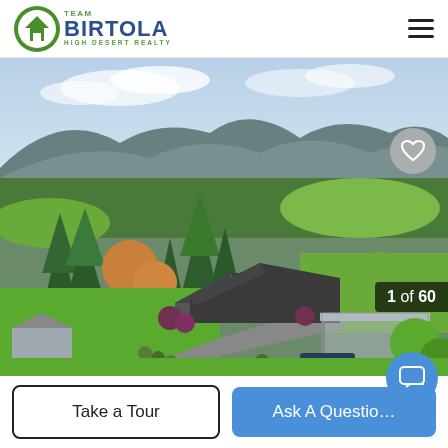Team Birtola High Desert Realty
[Figure (photo): Aerial drone photograph of a large residential property surrounded by mature trees and manicured grounds, with mountain ranges visible in the background under a partly cloudy sky. A house with dark roof, driveway lined with shrubs, a metal carport structure, and a small outbuilding are visible amidst green lawns and various trees.]
1 of 60
Take a Tour
Ask A Question